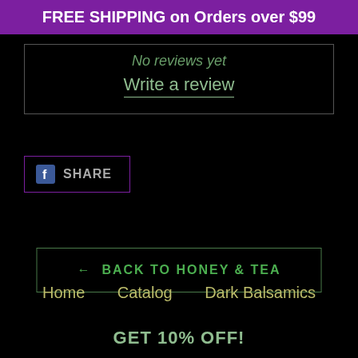FREE SHIPPING on Orders over $99
No reviews yet
Write a review
SHARE
← BACK TO HONEY & TEA
Home   Catalog   Dark Balsamics
GET 10% OFF!